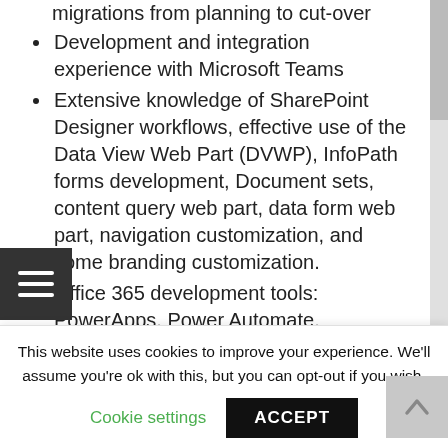migrations from planning to cut-over
Development and integration experience with Microsoft Teams
Extensive knowledge of SharePoint Designer workflows, effective use of the Data View Web Part (DVWP), InfoPath forms development, Document sets, content query web part, data form web part, navigation customization, and some branding customization.
Office 365 development tools: PowerApps, Power Automate, PowerShell Scripting
Experience with Angular JS, jQuery
This website uses cookies to improve your experience. We'll assume you're ok with this, but you can opt-out if you wish.
Cookie settings   ACCEPT